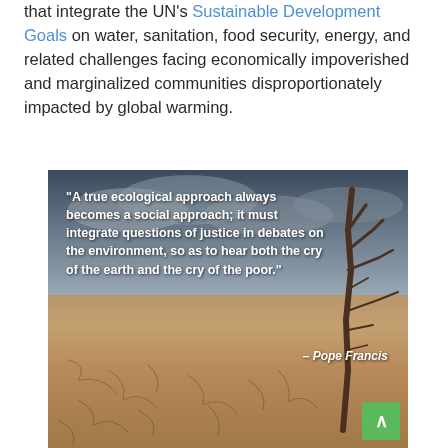that integrate the UN's Sustainable Development Goals on water, sanitation, food security, energy, and related challenges facing economically impoverished and marginalized communities disproportionately impacted by global warming.
[Figure (photo): Photo of a cracked dry earth landscape under a dramatic cloudy sky with a dead tree silhouette on the right. Overlaid with a white bold quote: "A true ecological approach always becomes a social approach; it must integrate questions of justice in debates on the environment, so as to hear both the cry of the earth and the cry of the poor." attributed to Pope Francis. A green scroll-to-top button is visible in the bottom-right corner.]